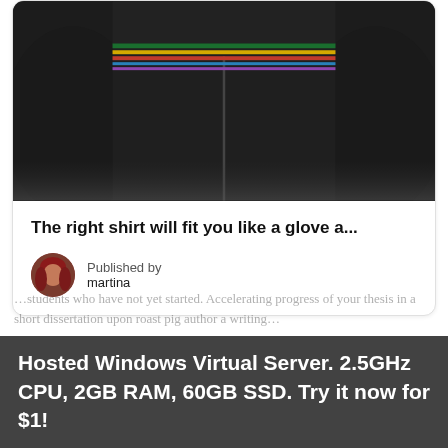[Figure (photo): Photo of a person wearing a dark/black long-sleeve cycling or athletic shirt with colorful horizontal stripes near the chest/collar area, shown from the torso down.]
The right shirt will fit you like a glove a...
Published by martina
Hosted Windows Virtual Server. 2.5GHz CPU, 2GB RAM, 60GB SSD. Try it now for $1!